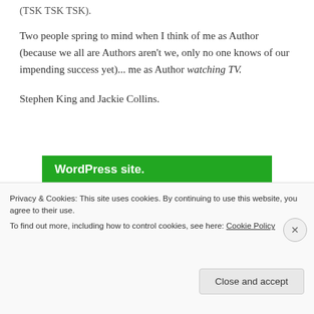(TSK TSK TSK).
Two people spring to mind when I think of me as Author (because we all are Authors aren't we, only no one knows of our impending success yet)... me as Author watching TV.
Stephen King and Jackie Collins.
[Figure (screenshot): Green advertisement banner with white bold text reading 'WordPress site.' and 'You run your business.' and a white button labeled 'Secure Your Site']
Privacy & Cookies: This site uses cookies. By continuing to use this website, you agree to their use. To find out more, including how to control cookies, see here: Cookie Policy
Close and accept